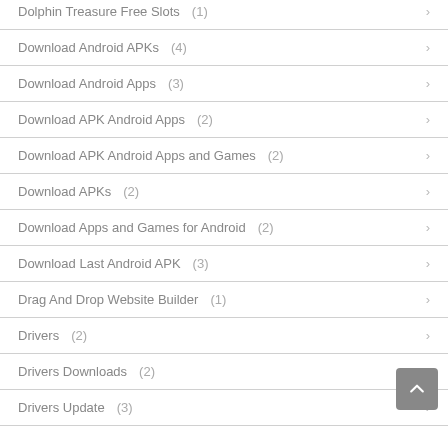Dolphin Treasure Free Slots (1)
Download Android APKs (4)
Download Android Apps (3)
Download APK Android Apps (2)
Download APK Android Apps and Games (2)
Download APKs (2)
Download Apps and Games for Android (2)
Download Last Android APK (3)
Drag And Drop Website Builder (1)
Drivers (2)
Drivers Downloads (2)
Drivers Update (3)